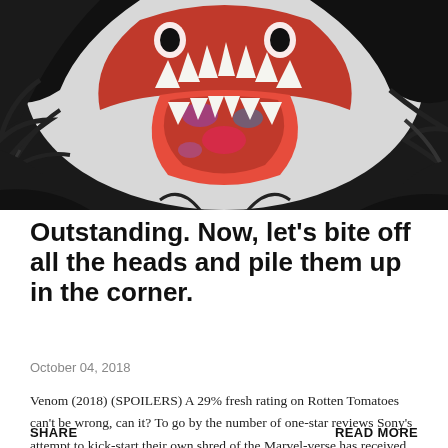[Figure (photo): Close-up promotional image of Venom (2018) — a dark creature with a massive open mouth showing white fangs, a large colorful tongue, and black tendrils surrounding it against a white/light background.]
Outstanding. Now, let’s bite off all the heads and pile them up in the corner.
October 04, 2018
Venom (2018) (SPOILERS) A 29% fresh rating on Rotten Tomatoes can't be wrong, can it? To go by the number of one-star reviews Sony’s attempt to kick-start their own shred of the Marvel-verse has received, you'd think it w…
SHARE    READ MORE